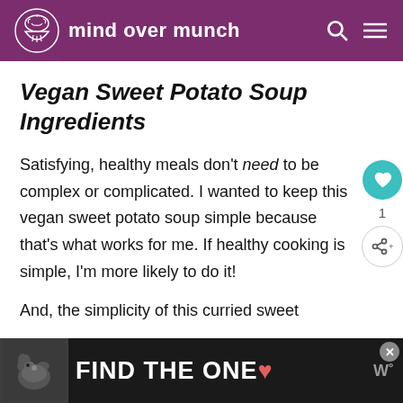mind over munch
Vegan Sweet Potato Soup Ingredients
Satisfying, healthy meals don't need to be complex or complicated. I wanted to keep this vegan sweet potato soup simple because that's what works for me. If healthy cooking is simple, I'm more likely to do it!
And, the simplicity of this curried sweet po...
[Figure (infographic): Advertisement banner: dog image on left, text 'FIND THE ONE' in large white letters on dark background, with a close button.]